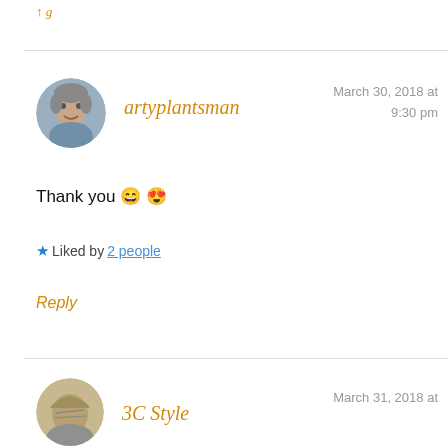↑ g
artyplantsman
March 30, 2018 at 9:30 pm
Thank you 😄😍
★ Liked by 2 people
Reply
3C Style
March 31, 2018 at